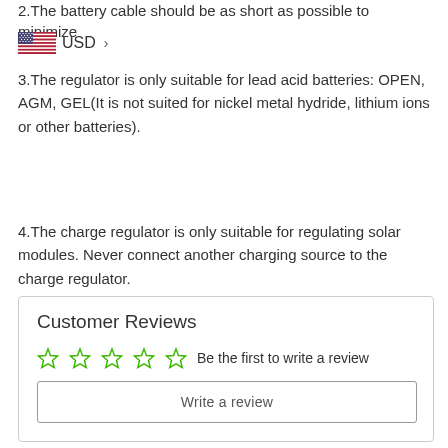2.The battery cable should be as short as possible to minimize
[Figure (other): US flag icon followed by USD > text]
3.The regulator is only suitable for lead acid batteries: OPEN, AGM, GEL(It is not suited for nickel metal hydride, lithium ions or other batteries).
4.The charge regulator is only suitable for regulating solar modules. Never connect another charging source to the charge regulator.
Customer Reviews
☆☆☆☆☆  Be the first to write a review
Write a review